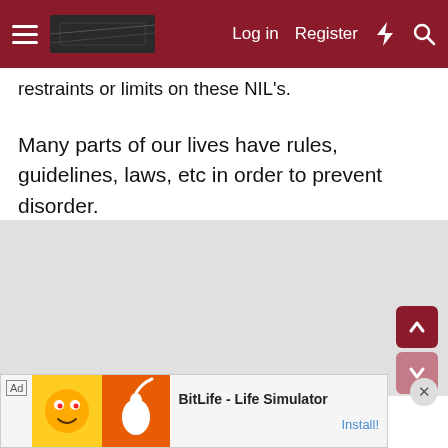Log in  Register
restraints or limits on these NIL's.
Many parts of our lives have rules, guidelines, laws, etc in order to prevent disorder.
[Figure (screenshot): Ad banner for BitLife - Life Simulator with Install button]